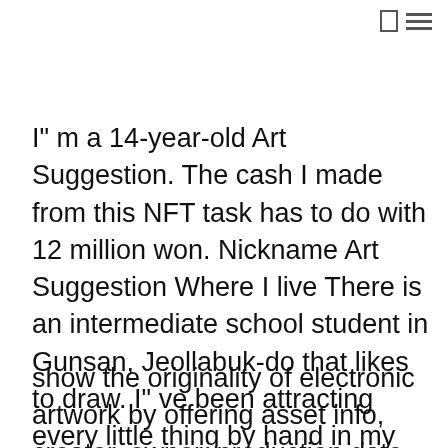☐ ≡
I" m a 14-year-old Art Suggestion. The cash I made from this NFT task has to do with 12 million won. Nickname Art Suggestion Where I live There is an intermediate school student in Gunsan, Jeollabuk-do that likes to draw. I" ve been attracting every little thing by hand in my note pad given that I was 7 years of ages, and also I also uploaded a couple of pictures on my blog. Nevertheless, after I learnt more about nft last March, I began offering my paints to the nft art market.Nft art is to
show the originality of electronic artwork by offering asset info, creator, owner, production date, etc to the nft token. It